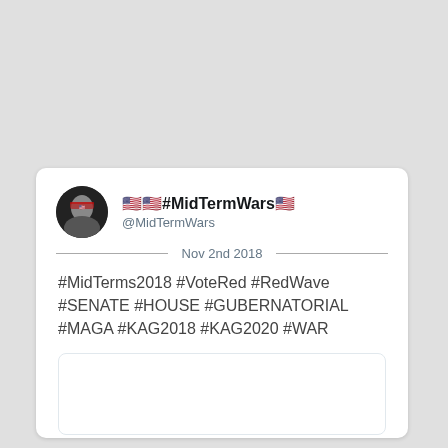[Figure (screenshot): Twitter/social media post screenshot card with profile, date, tweet text and embedded image placeholder]
🇺🇸🇺🇸#MidTermWars🇺🇸
@MidTermWars
Nov 2nd 2018
#MidTerms2018 #VoteRed #RedWave #SENATE #HOUSE #GUBERNATORIAL #MAGA #KAG2018 #KAG2020 #WAR